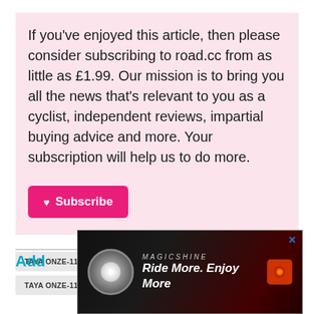If you've enjoyed this article, then please consider subscribing to road.cc from as little as £1.99. Our mission is to bring you all the news that's relevant to you as a cyclist, independent reviews, impartial buying advice and more. Your subscription will help us to do more.
[Figure (other): Pink Subscribe button with heart icon]
TAYA ONZE-111 (UL) 11-SPEED CHAIN 2017
TAYA ONZE-111 (UL) 11-SPEED CHAIN   TAYA 2017   TAYA
Add
[Figure (screenshot): Magicshine advertisement banner showing lights and text 'Ride More. Enjoy More']